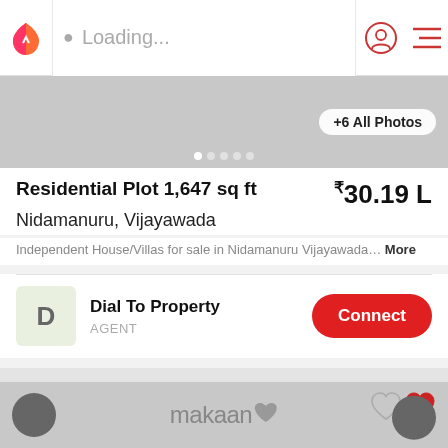Loading...
[Figure (screenshot): Property photo strip with +6 All Photos button and dot navigation]
Residential Plot 1,647 sq ft
₹30.19 L
Nidamanuru, Vijayawada
Independent House/Villas for sale in Nidamanuru Vijayawada… More
Dial To Property
AGENT
Connect
[Figure (screenshot): Second property listing image placeholder with makaan logo, heart icons, navigation arrows, +6 All Photos button and dot navigation]